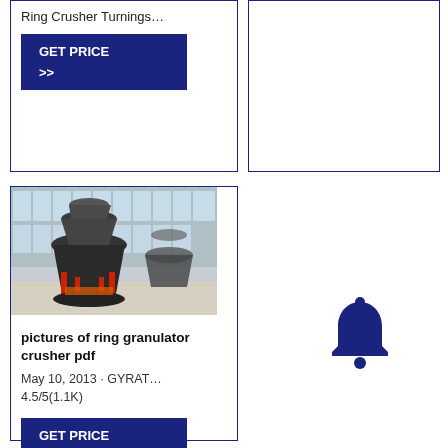Ring Crusher Turnings…
GET PRICE >>
[Figure (photo): Industrial cone crusher machinery in a factory/warehouse setting with large windows in the background]
pictures of ring granulator crusher pdf
May 10, 2013 · GYRAT… 4.5/5(1.1K)
GET PRICE
[Figure (illustration): Bell/notification icon in dark navy blue color]